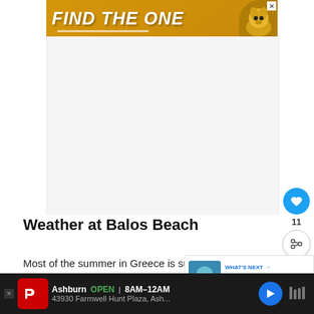[Figure (screenshot): Top banner advertisement with yellow/gold background showing 'FIND THE ONE' text with dalmatian dog image and close button]
[Figure (screenshot): Heart/like button (blue circle with heart icon) and share button with count 11]
Weather at Balos Beach
Most of the summer in Greece is sunny and it is most likely to be sunny and possibly hot in Balos too. It's rare to see a wave on the beachside, and i
[Figure (screenshot): What's Next overlay showing thumbnail image and text 'A Guide to Preveli Beac...']
[Figure (screenshot): Bottom advertisement bar for CVS Pharmacy showing Ashburn OPEN 8AM-12AM, 43930 Farmwell Hunt Plaza, Ash... with navigation arrow and weather icon]